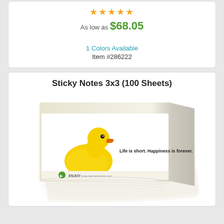As low as $68.05
1 Colors Available
Item #286222
Sticky Notes 3x3 (100 Sheets)
[Figure (photo): Photo of a sticky note pad featuring a yellow rubber duck and text 'Life is short. Happiness is forever.' with a green logo reading 'ENJOY / www.website-here.com']